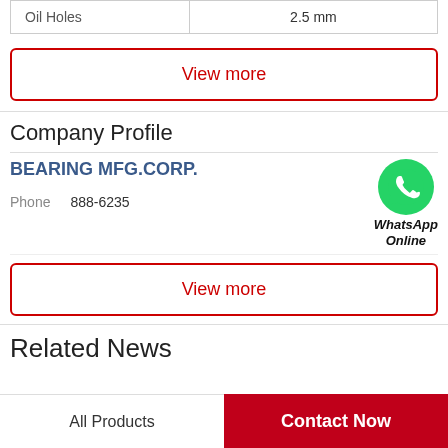| Oil Holes | 2.5 mm |
View more
Company Profile
BEARING MFG.CORP.
Phone  888-6235
[Figure (illustration): WhatsApp green phone icon with text 'WhatsApp Online']
View more
Related News
All Products
Contact Now